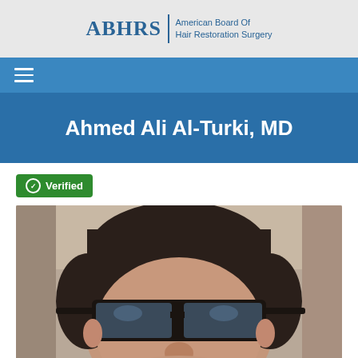ABHRS | American Board Of Hair Restoration Surgery
Ahmed Ali Al-Turki, MD
Verified
[Figure (photo): Selfie photo of Ahmed Ali Al-Turki, MD, a man wearing dark sunglasses, taken from close range inside a vehicle. Dark hair visible, close-up portrait shot.]